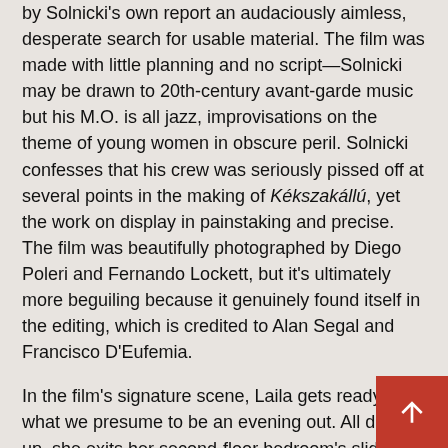by Solnicki's own report an audaciously aimless, desperate search for usable material. The film was made with little planning and no script—Solnicki may be drawn to 20th-century avant-garde music but his M.O. is all jazz, improvisations on the theme of young women in obscure peril. Solnicki confesses that his crew was seriously pissed off at several points in the making of Kékszakállú, yet the work on display in painstaking and precise. The film was beautifully photographed by Diego Poleri and Fernando Lockett, but it's ultimately more beguiling because it genuinely found itself in the editing, which is credited to Alan Segal and Francisco D'Eufemia.
In the film's signature scene, Laila gets ready for what we presume to be an evening out. All dolled up, she exits her second-floor bedroom's sliding door for fresh air—only to lock herself out, with no way to get either back inside or down to the ground. As with that frightened girl on the diving board at the film's start, this remarkable scene ends before we ever find out how Laila descends from her balcony prison. Solnicki captures the entire sequence in a master, rendering his heroine nearly as pinned within her opulent confines as the insects so exquisitely preserved and framed in the museum seen in the film's postcard scene. Deadpan comical, the scene could almost be